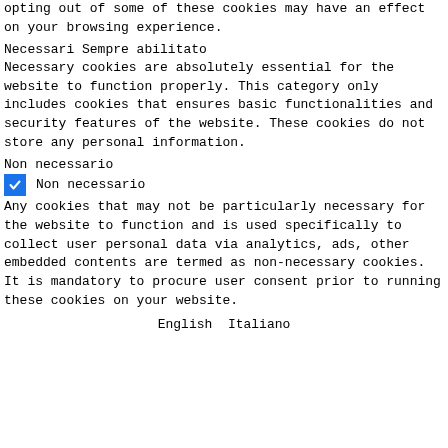opting out of some of these cookies may have an effect on your browsing experience.
Necessari Sempre abilitato
Necessary cookies are absolutely essential for the website to function properly. This category only includes cookies that ensures basic functionalities and security features of the website. These cookies do not store any personal information.
Non necessario
☑ Non necessario
Any cookies that may not be particularly necessary for the website to function and is used specifically to collect user personal data via analytics, ads, other embedded contents are termed as non-necessary cookies. It is mandatory to procure user consent prior to running these cookies on your website.
English  Italiano